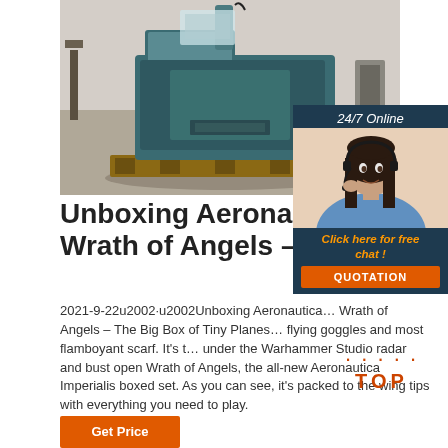[Figure (photo): Photo of a large industrial blue machine/equipment in a workshop setting, on a wooden pallet, with workshop background]
[Figure (photo): 24/7 Online chat widget with a woman wearing a headset smiling, with 'Click here for free chat!' link and QUOTATION button]
Unboxing Aeronautica Impe… Wrath of Angels – The Big …
2021-9-22u2002·u2002Unboxing Aeronautica… Wrath of Angels – The Big Box of Tiny Planes… flying goggles and most flamboyant scarf. It's t… under the Warhammer Studio radar and bust open Wrath of Angels, the all-new Aeronautica Imperialis boxed set. As you can see, it's packed to the wing tips with everything you need to play.
[Figure (logo): TOP button/badge with orange dots forming an arc and orange bold text TOP]
Get Price